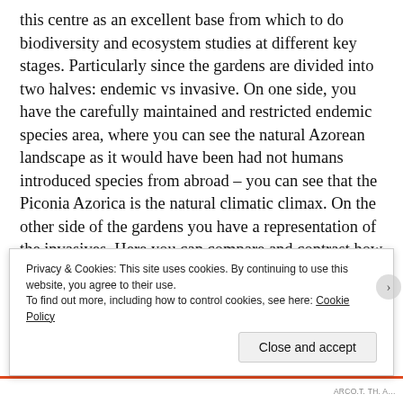this centre as an excellent base from which to do biodiversity and ecosystem studies at different key stages. Particularly since the gardens are divided into two halves: endemic vs invasive. On one side, you have the carefully maintained and restricted endemic species area, where you can see the natural Azorean landscape as it would have been had not humans introduced species from abroad – you can see that the Piconia Azorica is the natural climatic climax. On the other side of the gardens you have a representation of the invasives. Here you can compare and contrast how succession looks and is altered after the influence of humans, and see that now the plagioclimax species is Japanese Cedar. It would be possible to do studies into soils, microorganisms, vegetation and how these compare and contrast under different circumstances and s
Privacy & Cookies: This site uses cookies. By continuing to use this website, you agree to their use.
To find out more, including how to control cookies, see here: Cookie Policy
Close and accept